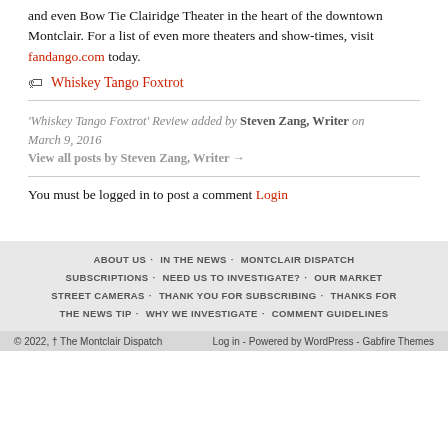and even Bow Tie Clairidge Theater in the heart of the downtown Montclair. For a list of even more theaters and show-times, visit fandango.com today.
Whiskey Tango Foxtrot
'Whiskey Tango Foxtrot' Review added by Steven Zang, Writer on March 9, 2016
View all posts by Steven Zang, Writer →
You must be logged in to post a comment Login
ABOUT US  IN THE NEWS  MONTCLAIR DISPATCH  SUBSCRIPTIONS  NEED US TO INVESTIGATE?  OUR MARKET  STREET CAMERAS  THANK YOU FOR SUBSCRIBING  THANKS FOR THE NEWS TIP  WHY WE INVESTIGATE  COMMENT GUIDELINES
© 2022, † The Montclair Dispatch    Log in - Powered by WordPress - Gabfire Themes